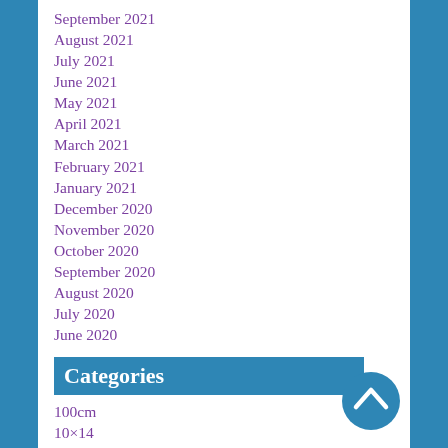September 2021
August 2021
July 2021
June 2021
May 2021
April 2021
March 2021
February 2021
January 2021
December 2020
November 2020
October 2020
September 2020
August 2020
July 2020
June 2020
Categories
100cm
10×14
167c
[Figure (other): Blue circular scroll-to-top button with upward chevron arrow]